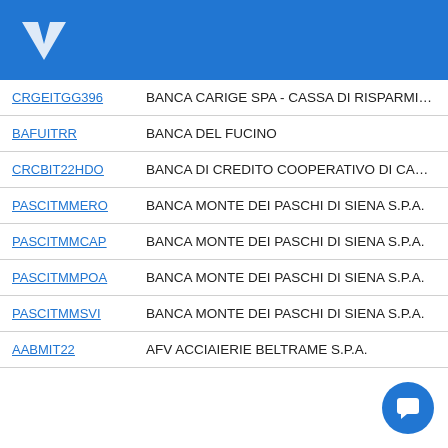[Figure (logo): Blue header bar with a white V-shaped logo on the left]
| Code | Name |
| --- | --- |
| CRGEITGG396 | BANCA CARIGE SPA - CASSA DI RISPARMIO DI G... |
| BAFUITRR | BANCA DEL FUCINO |
| CRCBIT22HDO | BANCA DI CREDITO COOPERATIVO DI CARATE B... |
| PASCITMMERO | BANCA MONTE DEI PASCHI DI SIENA S.P.A. |
| PASCITMMCAP | BANCA MONTE DEI PASCHI DI SIENA S.P.A. |
| PASCITMMPOA | BANCA MONTE DEI PASCHI DI SIENA S.P.A. |
| PASCITMMSVI | BANCA MONTE DEI PASCHI DI SIENA S.P.A. |
| AABMIT22 | AFV ACCIAIERIE BELTRAME S.P.A. |